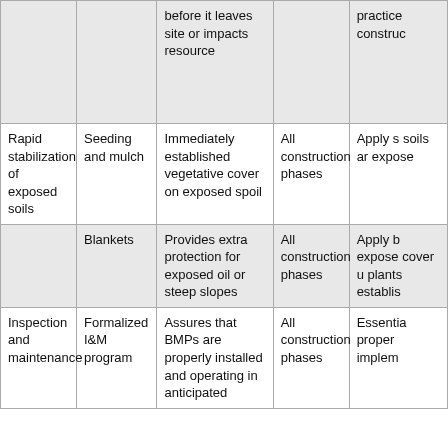|  |  |  |  |  |
| --- | --- | --- | --- | --- |
|  |  | before it leaves site or impacts resource |  | practice construc... |
| Rapid stabilization of exposed soils | Seeding and mulch | Immediately established vegetative cover on exposed spoil | All construction phases | Apply s soils ar expose... |
|  | Blankets | Provides extra protection for exposed oil or steep slopes | All construction phases | Apply b expose cover u plants establis... |
| Inspection and maintenance | Formalized I&M program | Assures that BMPs are properly installed and operating in anticipated | All construction phases | Essentia proper implem... |